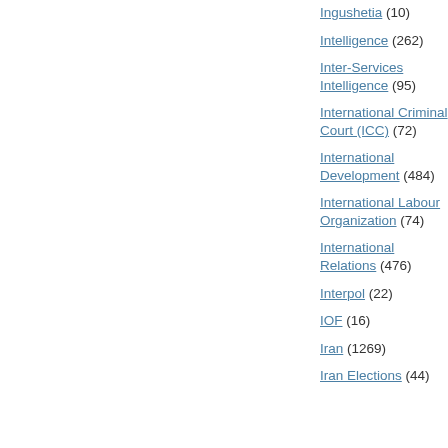Ingushetia (10)
Intelligence (262)
Inter-Services Intelligence (95)
International Criminal Court (ICC) (72)
International Development (484)
International Labour Organization (74)
International Relations (476)
Interpol (22)
IOF (16)
Iran (1269)
Iran Elections (44)